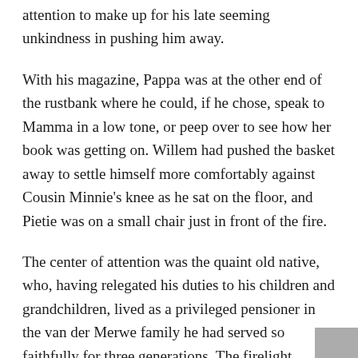attention to make up for his late seeming unkindness in pushing him away.
With his magazine, Pappa was at the other end of the rustbank where he could, if he chose, speak to Mamma in a low tone, or peep over to see how her book was getting on. Willem had pushed the basket away to settle himself more comfortably against Cousin Minnie's knee as he sat on the floor, and Pietie was on a small chair just in front of the fire.
The center of attention was the quaint old native, who, having relegated his duties to his children and grandchildren, lived as a privileged pensioner in the van der Merwe family he had served so faithfully for three generations. The firelight played over his quaint figure with the weirdest effect, lighting up now one portion of it, now another, showing up his astonishingly small hands and crooked fingers, as he pointed and gesticulated incessantly—for these people speak as much by gesture as by sound—and